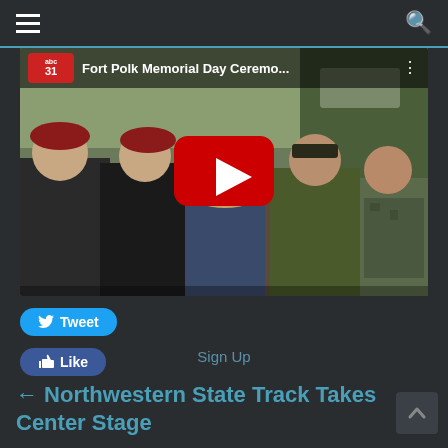≡  [navigation bar]  🔍
[Figure (screenshot): YouTube video embed showing Fort Polk Memorial Day Ceremony with military personnel seated outdoors. Video title: 'Fort Polk Memorial Day Ceremo...' with abc31 logo. Red YouTube play button in center.]
Tweet
Like
Sign Up
← Northwestern State Track Takes Center Stage